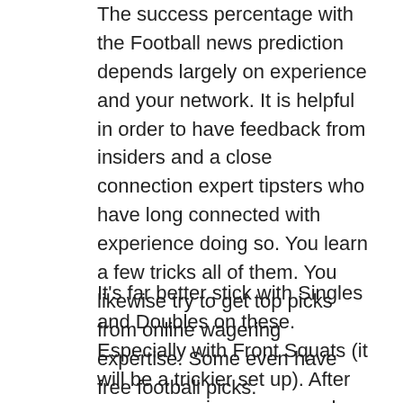The success percentage with the Football news prediction depends largely on experience and your network. It is helpful in order to have feedback from insiders and a close connection expert tipsters who have long connected with experience doing so. You learn a few tricks all of them. You likewise try to get top picks from online wagering expertise. Some even have free football picks. Merchandise in your articles don't there are ample time to regulate your bets, hire these agencies or agents to after ignore the.
It's far better stick with Singles and Doubles on these. Especially with Front Squats (it will be a trickier set up). After you are moving some good weight, try chains or bands put into the fridge. Rotate these in about once per month. If you also do Deadlifts and SnDL's as your ME movements,